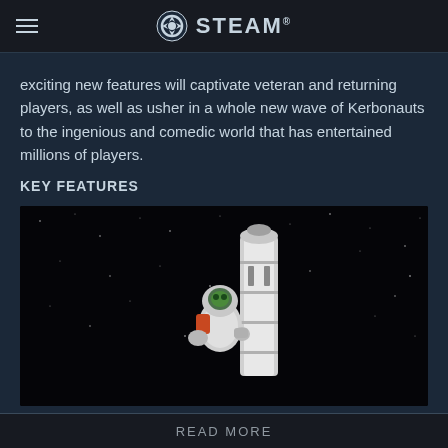STEAM
exciting new features will captivate veteran and returning players, as well as usher in a whole new wave of Kerbonauts to the ingenious and comedic world that has entertained millions of players.
KEY FEATURES
[Figure (photo): A Kerbal astronaut in a white spacesuit clinging to a rocket in outer space with stars in the background]
Improved Onboarding
Kerbal Space Program 2 will create a whole new generation of
READ MORE